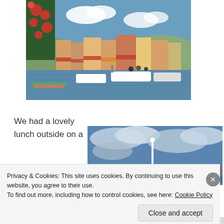[Figure (photo): A harbor scene with colorful buildings along the waterfront, boats moored in the water, red flowers in the foreground on the left, and hills in the background under a partly cloudy blue sky.]
We had a lovely lunch outside on a
[Figure (photo): A partly cloudy blue sky with a white mast or lighthouse visible, taken from a harbor or waterfront area.]
Privacy & Cookies: This site uses cookies. By continuing to use this website, you agree to their use.
To find out more, including how to control cookies, see here: Cookie Policy
Close and accept